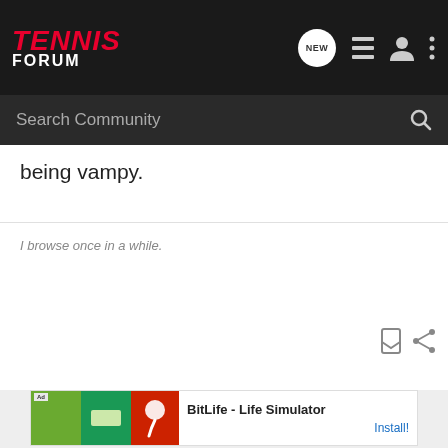[Figure (screenshot): Tennis Forum navigation bar with logo, NEW button, list icon, user icon, and more icon]
[Figure (screenshot): Search Community search bar with magnifying glass icon]
being vampy.
I browse once in a while.
[Figure (screenshot): Bookmark and share action icons]
[Figure (screenshot): Ad banner: BitLife - Life Simulator with Install button]